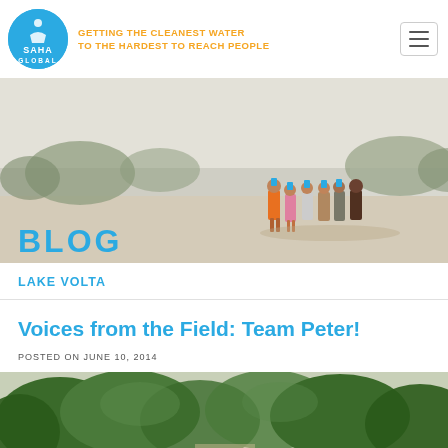SAHA GLOBAL | GETTING THE CLEANEST WATER TO THE HARDEST TO REACH PEOPLE
[Figure (photo): Group of people carrying blue water containers on their heads walking along a dirt path near Lake Volta; 'BLOG' text overlay at bottom left]
LAKE VOLTA
Voices from the Field: Team Peter!
POSTED ON JUNE 10, 2014
[Figure (photo): Outdoor scene with green trees, partial view of a settlement in Ghana]